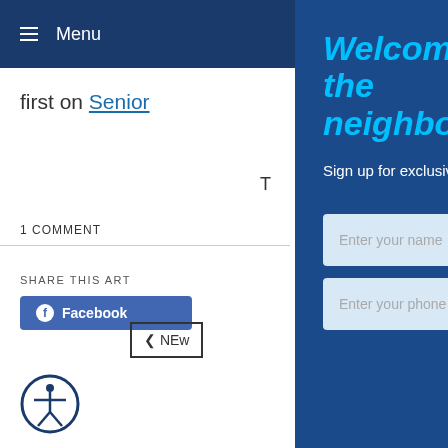≡ Menu
first on Senior
T
1 COMMENT
SHARE THIS ART
Facebook
< NEW
Welcome to the neighborhood.
Sign up for exclusive offers and content and recieve 5% OFF your next order.
Enter your name
Enter your phone number